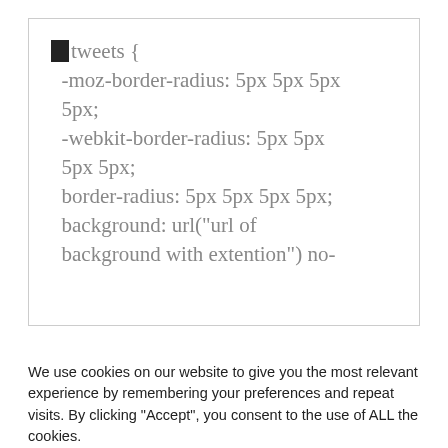[Figure (screenshot): A code snippet box showing CSS code for .tweets selector with border-radius and background properties. The text reads: .tweets { -moz-border-radius: 5px 5px 5px 5px; -webkit-border-radius: 5px 5px 5px 5px; border-radius: 5px 5px 5px 5px; background: url("url of background with extention") no-]
We use cookies on our website to give you the most relevant experience by remembering your preferences and repeat visits. By clicking "Accept", you consent to the use of ALL the cookies.
Do not sell my personal information.
Cookie Settings | Accept